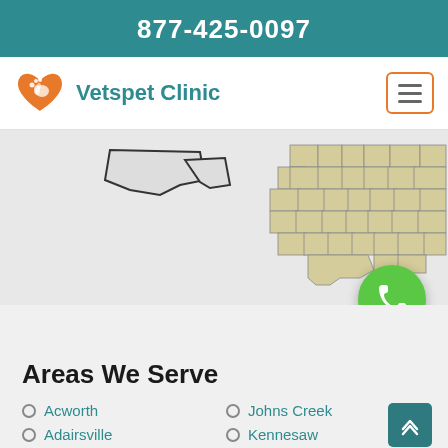877-425-0097
Vetspet Clinic
[Figure (map): Partial map showing county outlines of Georgia state highlighted in tan/beige on a light gray background]
Areas We Serve
Acworth
Adairsville
Johns Creek
Kennesaw